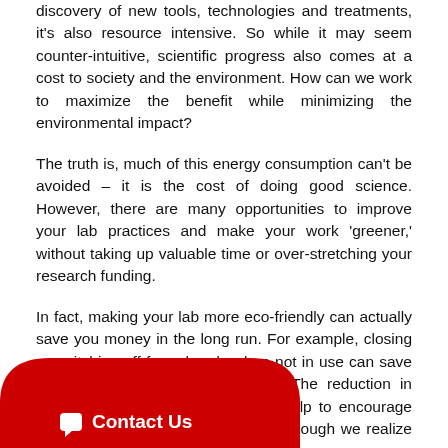discovery of new tools, technologies and treatments, it's also resource intensive. So while it may seem counter-intuitive, scientific progress also comes at a cost to society and the environment. How can we work to maximize the benefit while minimizing the environmental impact?
The truth is, much of this energy consumption can't be avoided – it is the cost of doing good science. However, there are many opportunities to improve your lab practices and make your work 'greener,' without taking up valuable time or over-stretching your research funding.
In fact, making your lab more eco-friendly can actually save you money in the long run. For example, closing or switching off fume hoods when not in use can save up to £2,000 per year per hood. The reduction in background noise levels can also help to encourage conversation between colleagues (although we realize that there are pros and cons to this!).
[Figure (other): Red 'Contact Us' chat button overlay at bottom left of page, partially obscuring text.]